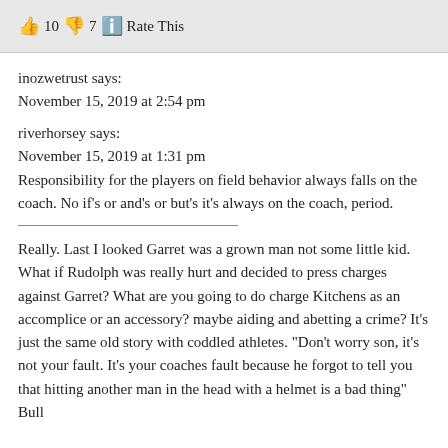👍 10 👎 7 ℹ️ Rate This
inozwetrust says:
November 15, 2019 at 2:54 pm
riverhorsey says:
November 15, 2019 at 1:31 pm
Responsibility for the players on field behavior always falls on the coach. No if's or and's or but's it's always on the coach, period.
Really. Last I looked Garret was a grown man not some little kid. What if Rudolph was really hurt and decided to press charges against Garret? What are you going to do charge Kitchens as an accomplice or an accessory? maybe aiding and abetting a crime? It's just the same old story with coddled athletes. "Don't worry son, it's not your fault. It's your coaches fault because he forgot to tell you that hitting another man in the head with a helmet is a bad thing" Bull